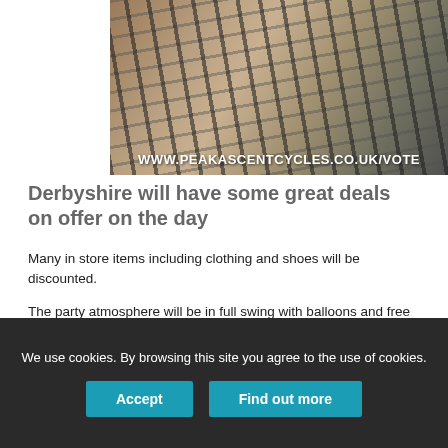[Figure (photo): Interior of a bicycle shop showing rows of bikes on a wooden floor. URL overlay reads WWW.PEAKASCENTCYCLES.CO.UK/VOTE]
Derbyshire will have some great deals on offer on the day
Many in store items including clothing and shoes will be discounted.
The party atmosphere will be in full swing with balloons and free gifts, a zwift experience ride as well as lots of cycling stories and advice available so come down and help celebrate!
We use cookies. By browsing this site you agree to the use of cookies.